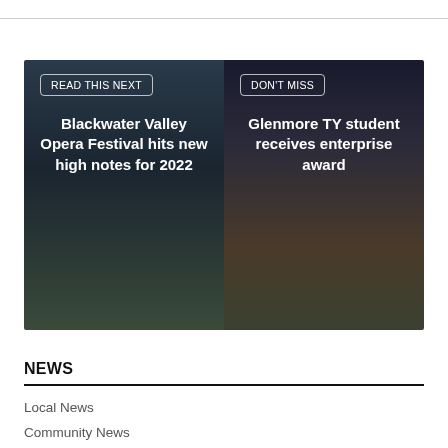[Figure (other): Two-panel promotional banner. Left panel with dark background shows label 'READ THIS NEXT' in a rounded rectangle border and headline 'Blackwater Valley Opera Festival hits new high notes for 2022'. Right panel with dark background shows label 'DON'T MISS' in a rounded rectangle border and headline 'Glenmore TY student receives enterprise award'.]
NEWS
Local News
Community News